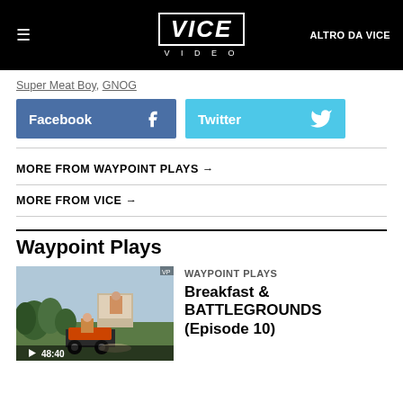≡  VICE VIDEO  ALTRO DA VICE
Super Meat Boy, GNOG
Facebook  Twitter
MORE FROM WAYPOINT PLAYS →
MORE FROM VICE →
Waypoint Plays
WAYPOINT PLAYS
Breakfast & BATTLEGROUNDS (Episode 10)
[Figure (screenshot): Video thumbnail showing a game scene with a character on a vehicle, trees in background, with play button overlay and duration 48:40]